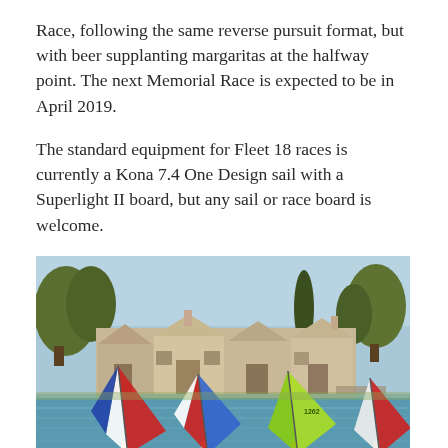Race, following the same reverse pursuit format, but with beer supplanting margaritas at the halfway point. The next Memorial Race is expected to be in April 2019.
The standard equipment for Fleet 18 races is currently a Kona 7.4 One Design sail with a Superlight II board, but any sail or race board is welcome.
[Figure (photo): Outdoor photo of windsurfers on a lake/bay with colorful sails (red/white/blue and yellow-green), residential houses and trees visible in the background under a clear sky.]